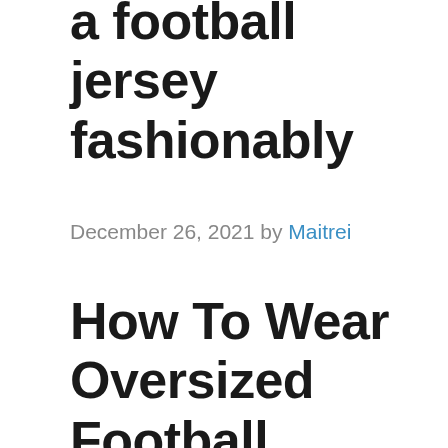a football jersey fashionably
December 26, 2021 by Maitrei
How To Wear Oversized Football Jersey
Wearing an oversized football jersey is a way to express your passion for the game and show off your team’s colors. You can wear this oversized clothing